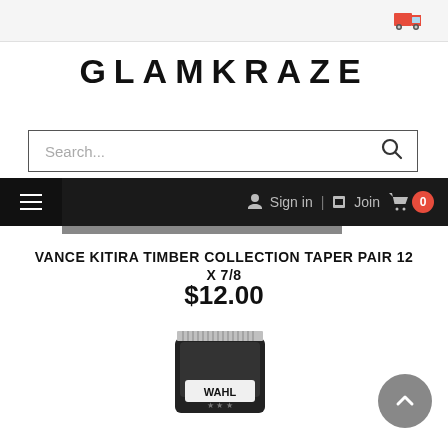GLAMKRAZE website header with truck icon
GLAMKRAZE
Search...
≡  Sign in  |  Join  🛒 0
VANCE KITIRA TIMBER COLLECTION TAPER PAIR 12 X 7/8
$12.00
[Figure (photo): Product photo of a Wahl hair clipper blade/trimmer attachment at the bottom of the page]